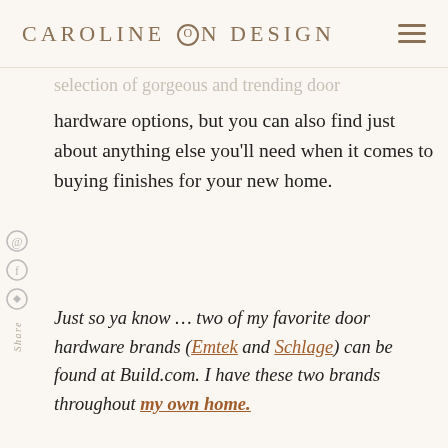CAROLINE ON DESIGN
selection of gorgeous and trending door hardware options, but you can also find just about anything else you'll need when it comes to buying finishes for your new home.
Just so ya know … two of my favorite door hardware brands (Emtek and Schlage) can be found at Build.com. I have these two brands throughout my own home.